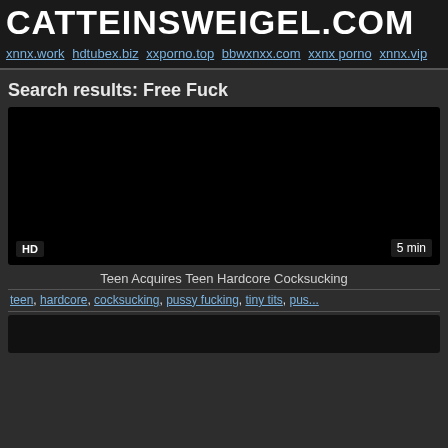CATTEINSWEIGEL.COM
xnnx.work hdtubex.biz xxporno.top bbwxnxx.com xxnx porno xnnx.vip
Search results: Free Fuck
[Figure (other): Dark video thumbnail with HD badge and 5 min duration label]
Teen Acquires Teen Hardcore Cocksucking
teen, hardcore, cocksucking, pussy fucking, tiny tits, pus...
[Figure (other): Dark video thumbnail (partially visible)]